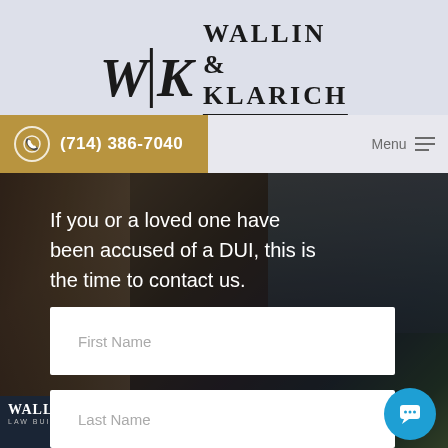[Figure (logo): Wallin & Klarich law firm logo with W|K monogram and full name 'Wallin & Klarich A Law Corporation']
(714) 386-7040
Menu
[Figure (photo): Background photo of a brick law building with dark overlay, showing outdoor scene]
If you or a loved one have been accused of a DUI, this is the time to contact us.
First Name
Last Name